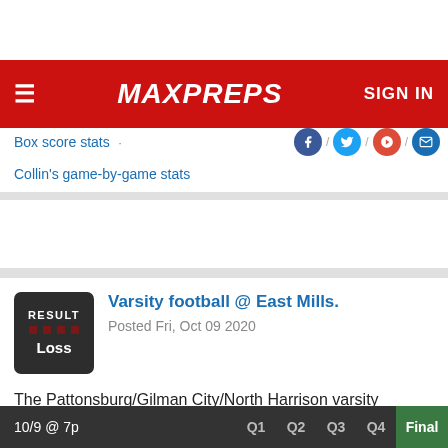MaxPreps — SIGN IN
Box score stats · Collin's game-by-game stats
[Figure (screenshot): Result card showing Loss for Varsity football @ East Mills. Posted Fri, Oct 09 2020]
The Pattonsburg/Gilman City/North Harrison varsity football team lost Friday's away non-conference game against East Mills (Malvern, IA) by a score of 63-14.
10/9 @ 7p   Q1  Q2  Q3  Q4  Final